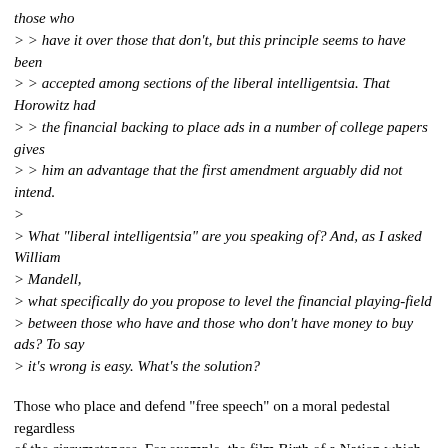those who
> > have it over those that don't, but this principle seems to have been
> > accepted among sections of the liberal intelligentsia. That Horowitz had
> > the financial backing to place ads in a number of college papers gives
> > him an advantage that the first amendment arguably did not intend.
>
> What "liberal intelligentsia" are you speaking of? And, as I asked William
> Mandell,
> what specifically do you propose to level the financial playing-field
> between those who have and those who don't have money to buy ads? To say
> it's wrong is easy. What's the solution?
Those who place and defend "free speech" on a moral pedestal regardless
of the circumstances. For example, the film Birth of a Nation which was
to American blacks what the Nazi propaganda films were to Jews--and yes,
the comparison is apt-- was instrumental in giving legitimacy to